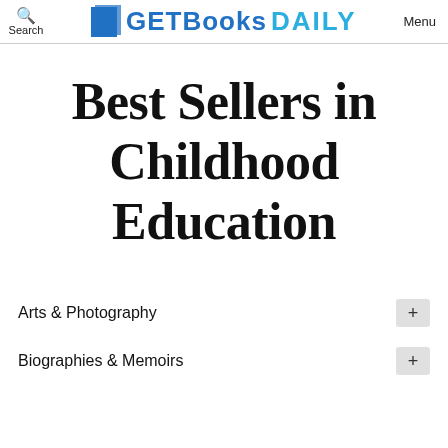Search | Get Books Daily | Menu
Best Sellers in Childhood Education
Arts & Photography
Biographies & Memoirs